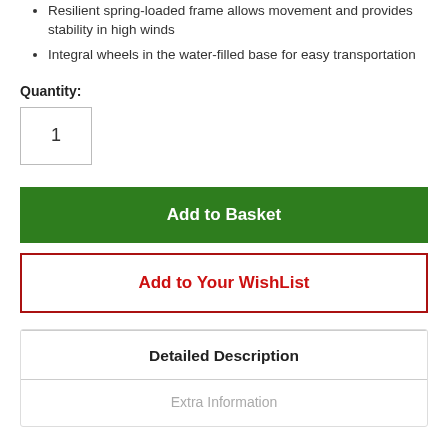Resilient spring-loaded frame allows movement and provides stability in high winds
Integral wheels in the water-filled base for easy transportation
Quantity: 1
Add to Basket
Add to Your WishList
Detailed Description
Extra Information